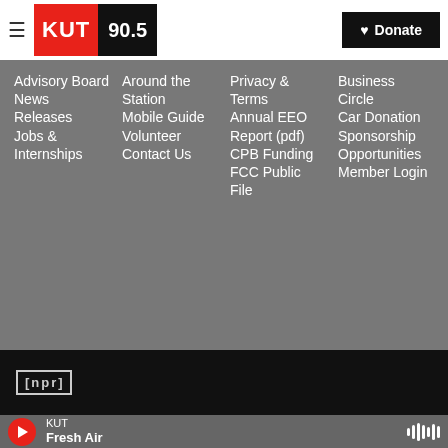KUT 90.5 — Donate
Advisory Board
News Releases
Jobs & Internships
Around the Station
Mobile Guide
Volunteer
Contact Us
Privacy & Terms
Annual EEO Report (pdf)
CPB Funding
FCC Public File
Business Circle
Car Donation
Sponsorship Opportunities
Member Login
[Figure (logo): NPR logo in outlined box]
KUT — Fresh Air